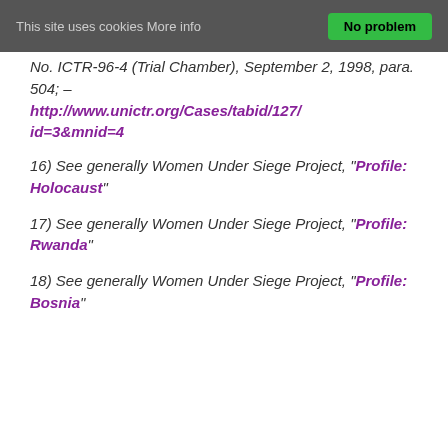This site uses cookies More info   No problem
No. ICTR-96-4 (Trial Chamber), September 2, 1998, para. 504; – http://www.unictr.org/Cases/tabid/127/id=3&mnid=4
16) See generally Women Under Siege Project, "Profile: Holocaust"
17) See generally Women Under Siege Project, "Profile: Rwanda"
18) See generally Women Under Siege Project, "Profile: Bosnia"